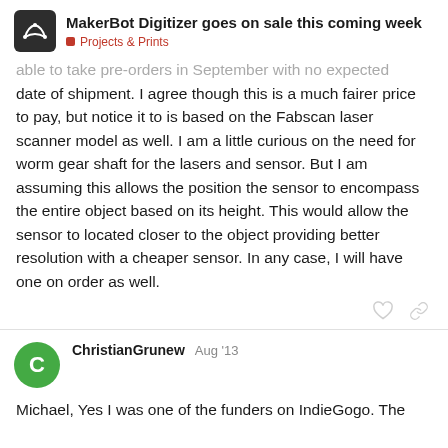MakerBot Digitizer goes on sale this coming week — Projects & Prints
able to take pre-orders in September with no expected date of shipment.  I agree though this is a much fairer price to pay, but notice it to is based on the Fabscan laser scanner model as well.  I am a little curious on the need for worm gear shaft for the lasers and sensor.  But I am assuming this allows the position the sensor to encompass the entire object based on its height.  This would allow the sensor to located closer to the object providing better resolution with a cheaper sensor.  In any case, I will have one on order as well.
ChristianGrunew — Aug '13
Michael, Yes I was one of the funders on IndieGogo. The